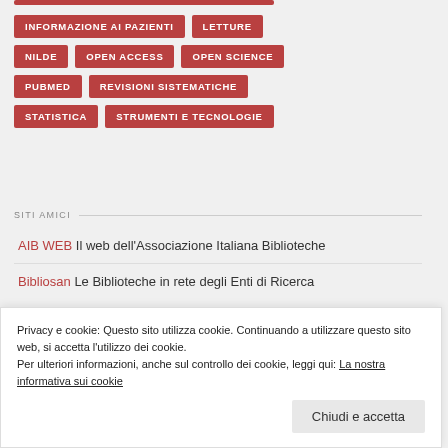INFORMAZIONE AI PAZIENTI
LETTURE
NILDE
OPEN ACCESS
OPEN SCIENCE
PUBMED
REVISIONI SISTEMATICHE
STATISTICA
STRUMENTI E TECNOLOGIE
SITI AMICI
AIB WEB Il web dell’Associazione Italiana Biblioteche
Bibliosan Le Biblioteche in rete degli Enti di Ricerca
Privacy e cookie: Questo sito utilizza cookie. Continuando a utilizzare questo sito web, si accetta l’utilizzo dei cookie.
Per ulteriori informazioni, anche sul controllo dei cookie, leggi qui: La nostra informativa sui cookie
Chiudi e accetta